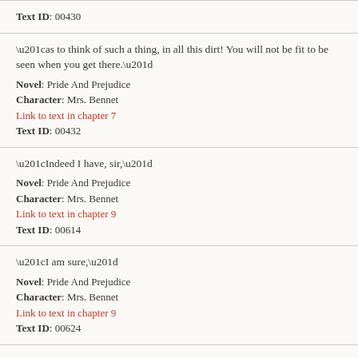Text ID: 00430
“as to think of such a thing, in all this dirt! You will not be fit to be seen when you get there.”
Novel: Pride And Prejudice
Character: Mrs. Bennet
Link to text in chapter 7
Text ID: 00432
“Indeed I have, sir,”
Novel: Pride And Prejudice
Character: Mrs. Bennet
Link to text in chapter 9
Text ID: 00614
“I am sure,”
Novel: Pride And Prejudice
Character: Mrs. Bennet
Link to text in chapter 9
Text ID: 00624